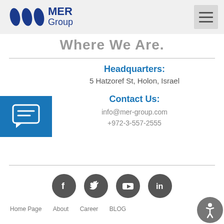MER Group
Where We Are.
Headquarters:
5 Hatzoref St, Holon, Israel
Contact Us:
info@mer-group.com
+972-3-557-2555
[Figure (infographic): Blue chat bubble icon]
[Figure (infographic): Social media icons row: Facebook, Twitter, YouTube, LinkedIn]
Home Page
About
Career
BLOG